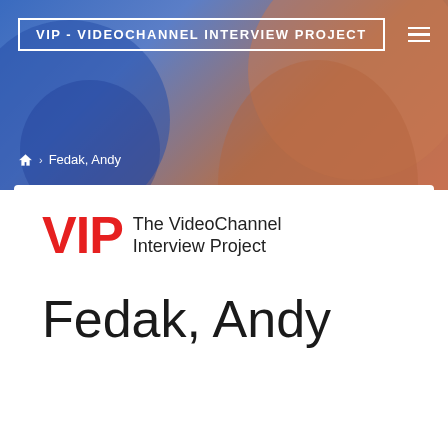VIP - VIDEOCHANNEL INTERVIEW PROJECT
🏠 › Fedak, Andy
[Figure (logo): VIP - The VideoChannel Interview Project logo: bold red 'VIP' letters followed by black text 'The VideoChannel Interview Project']
Fedak, Andy